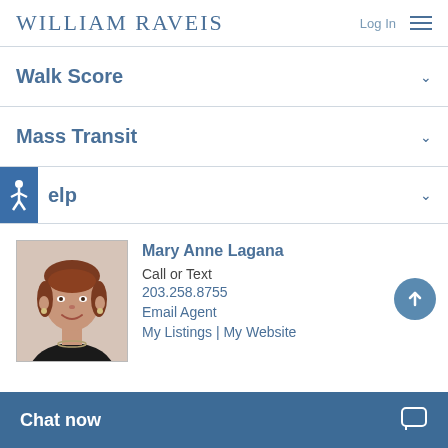WILLIAM RAVEIS  Log In
Walk Score
Mass Transit
Yelp
[Figure (photo): Headshot of Mary Anne Lagana, a woman with short reddish-brown hair, wearing a dark jacket and necklace, smiling.]
Mary Anne Lagana
Call or Text
203.258.8755
Email Agent
My Listings | My Website
Chat now